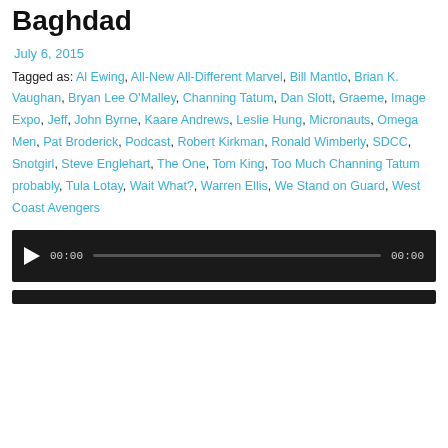Baghdad
July 6, 2015
Tagged as: Al Ewing, All-New All-Different Marvel, Bill Mantlo, Brian K. Vaughan, Bryan Lee O'Malley, Channing Tatum, Dan Slott, Graeme, Image Expo, Jeff, John Byrne, Kaare Andrews, Leslie Hung, Micronauts, Omega Men, Pat Broderick, Podcast, Robert Kirkman, Ronald Wimberly, SDCC, Snotgirl, Steve Englehart, The One, Tom King, Too Much Channing Tatum probably, Tula Lotay, Wait What?, Warren Ellis, We Stand on Guard, West Coast Avengers
[Figure (other): Audio player widget with play button, time display 00:00, progress bar, and end time 00:00]